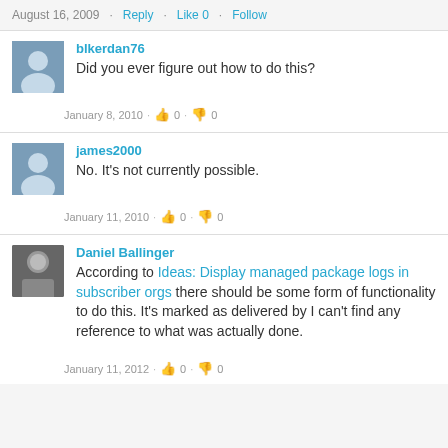August 16, 2009 · Reply · Like 0 · Follow
blkerdan76
Did you ever figure out how to do this?
January 8, 2010 · 0 · 0
james2000
No. It's not currently possible.
January 11, 2010 · 0 · 0
Daniel Ballinger
According to Ideas: Display managed package logs in subscriber orgs there should be some form of functionality to do this. It's marked as delivered by I can't find any reference to what was actually done.
January 11, 2012 · 0 · 0